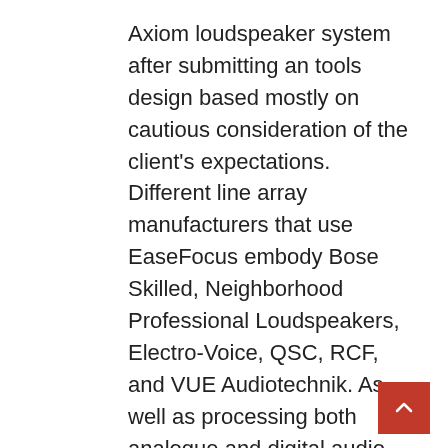Axiom loudspeaker system after submitting an tools design based mostly on cautious consideration of the client's expectations. Different line array manufacturers that use EaseFocus embody Bose Skilled, Neighborhood Professional Loudspeakers, Electro-Voice, QSC, RCF, and VUE Audiotechnik. As well as processing both analogue and digital audio enter, the speaker has a constructed-in digital amplifier to undertaking sound waves to focused areas. A complete of 16 audio system (in as much as 4 stacks) might be controlled as a single unit via GUI-operated additionally enables the control of all features, including mixing, digital signal processing and simulations.